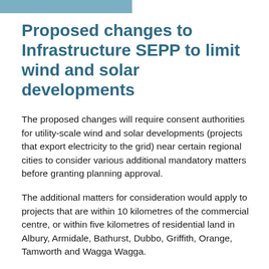Proposed changes to Infrastructure SEPP to limit wind and solar developments
The proposed changes will require consent authorities for utility-scale wind and solar developments (projects that export electricity to the grid) near certain regional cities to consider various additional mandatory matters before granting planning approval.
The additional matters for consideration would apply to projects that are within 10 kilometres of the commercial centre, or within five kilometres of residential land in Albury, Armidale, Bathurst, Dubbo, Griffith, Orange, Tamworth and Wagga Wagga.
For development in these areas, a consent authority will need to consider whether: